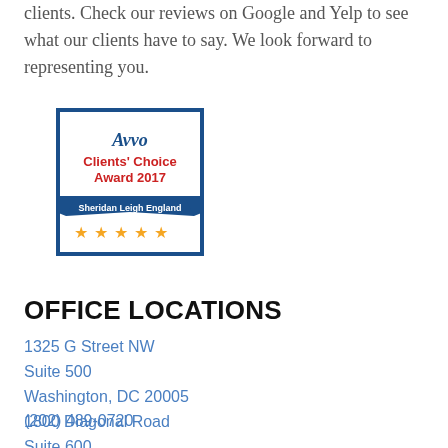clients. Check our reviews on Google and Yelp to see what our clients have to say. We look forward to representing you.
[Figure (logo): Avvo Clients' Choice Award 2017 badge with blue ribbon reading 'Sheridan Leigh England' and five orange stars]
OFFICE LOCATIONS
1325 G Street NW
Suite 500
Washington, DC 20005
(202) 489-0720
1800 Diagonal Road
Suite 600
Alexandria, VA 22314